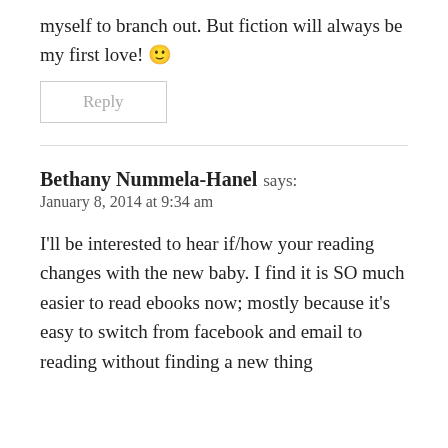myself to branch out. But fiction will always be my first love! 🙂
Reply
Bethany Nummela-Hanel says:
January 8, 2014 at 9:34 am
I'll be interested to hear if/how your reading changes with the new baby. I find it is SO much easier to read ebooks now; mostly because it's easy to switch from facebook and email to reading without finding a new thing